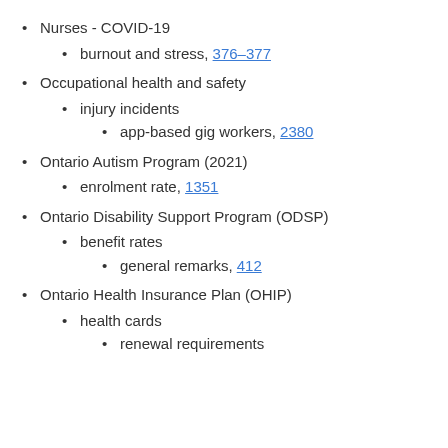Nurses - COVID-19
burnout and stress, 376–377
Occupational health and safety
injury incidents
app-based gig workers, 2380
Ontario Autism Program (2021)
enrolment rate, 1351
Ontario Disability Support Program (ODSP)
benefit rates
general remarks, 412
Ontario Health Insurance Plan (OHIP)
health cards
renewal requirements